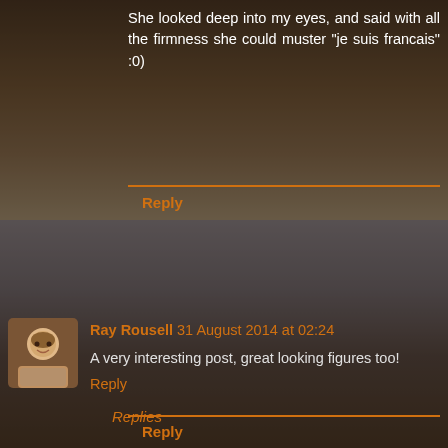She looked deep into my eyes, and said with all the firmness she could muster "je suis francais" :0)
Reply
Ray Rousell 31 August 2014 at 02:24
A very interesting post, great looking figures too!
Reply
Replies
Black Powder 1 September 2014 at 02:14
Thanks for the nice comment, glad you liked it Ray - the Franco Prussian War has fast become my favorite in terms of dramatic politics and history. It really is the mother of WW1 and WW2.
Reply